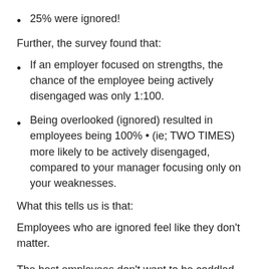25% were ignored!
Further, the survey found that:
If an employer focused on strengths, the chance of the employee being actively disengaged was only 1:100.
Being overlooked (ignored) resulted in employees being 100% • (ie; TWO TIMES) more likely to be actively disengaged, compared to your manager focusing only on your weaknesses.
What this tells us is that:
Employees who are ignored feel like they don't matter.
The best employees don't want to be coddled, they want to matter. They want to be part of something greater than themselves to know that they contribute to that something. They want to be heard, but under no circumstances do